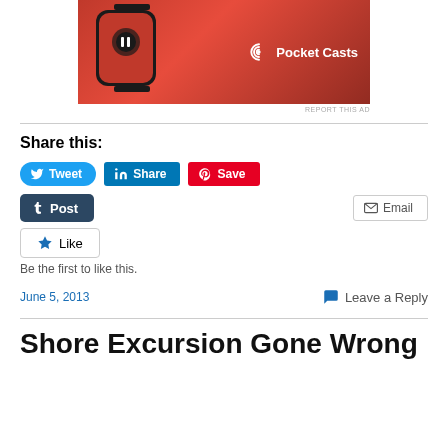[Figure (photo): Pocket Casts app advertisement showing a red Apple Watch with playback controls and the Pocket Casts logo on a red background]
REPORT THIS AD
Share this:
Tweet  Share  Save  Post  Email
Like
Be the first to like this.
June 5, 2013
Leave a Reply
Shore Excursion Gone Wrong